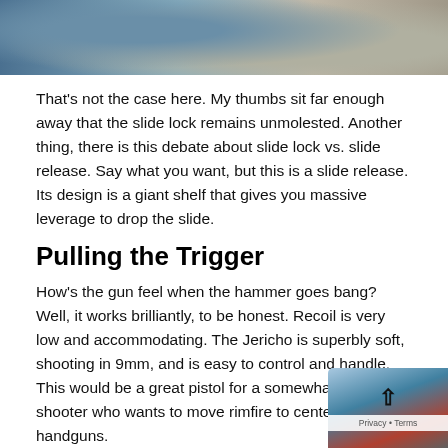[Figure (photo): Close-up photo of a firearm (pistol) slide/top portion, showing metallic and textured surfaces in blue-gray tones]
That's not the case here. My thumbs sit far enough away that the slide lock remains unmolested. Another thing, there is this debate about slide lock vs. slide release. Say what you want, but this is a slide release. Its design is a giant shelf that gives you massive leverage to drop the slide.
Pulling the Trigger
How's the gun feel when the hammer goes bang? Well, it works brilliantly, to be honest. Recoil is very low and accommodating. The Jericho is superbly soft, shooting in 9mm, and is easy to control and handle. This would be a great pistol for a somewhat new shooter who wants to move rimfire to centerfire handguns.